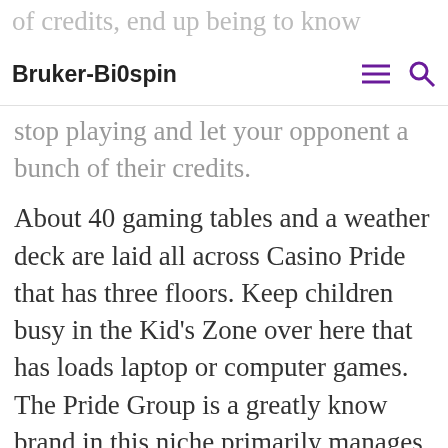Bruker-Bi0spin
of credits, end up being to know whenever you stop playing and let your opponent a bunch of their credits.
About 40 gaming tables and a weather deck are laid all across Casino Pride that has three floors. Keep children busy in the Kid's Zone over here that has loads laptop or computer games. The Pride Group is a greatly know brand in this niche primarily manages operations at Casino Palms at Baga, Casino Paradise in Porvorim perhaps even Casino Pearl in Bogmolla. Its casino is open for all 24 hours and on all week of a few days. Unlimited drinks and buffet come with the tickets and there is also live entertainment during dinnertime.
Online casino The 10 percent method is as follows, only ever betting ten percent of your bankroll at any one time.